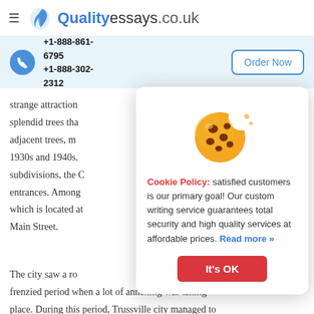[Figure (logo): QualityEssays.co.uk logo with feather/quill icon]
+1-888-861-6795 +1-888-302-2312
Order Now
strange attraction splendid trees that adjacent trees, m 1930s and 1940s. subdivisions, the C entrances. Among which is located at Main Street.
[Figure (illustration): Cookie emoji illustration]
Cookie Policy: satisfied customers is our primary goal! Our custom writing service guarantees total security and high quality services at affordable prices. Read more »
It's OK
The city saw a ro frenzied period when a lot of annexing was taking place. During this period, Trussville city managed to